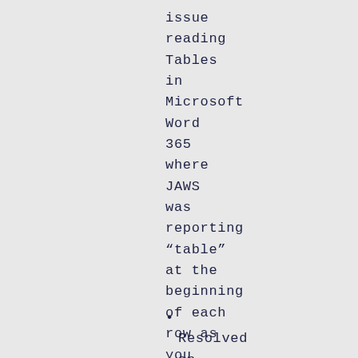issue reading Tables in Microsoft Word 365 where JAWS was reporting “table” at the beginning of each row as you navigated by line.
Resolved an issue